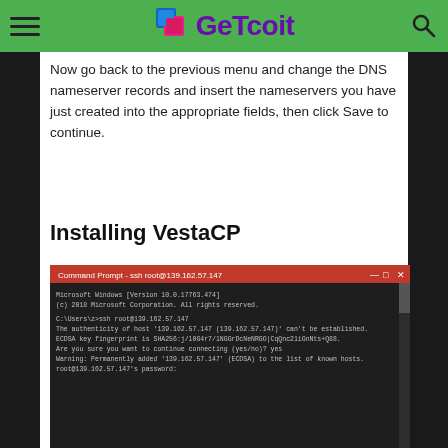GeTcoit
Now go back to the previous menu and change the DNS nameserver records and insert the nameservers you have just created into the appropriate fields, then click Save to continue.
Installing VestaCP
[Figure (screenshot): Command Prompt / SSH terminal window showing SSH connection to root@139.162.57.147 with ECDSA key fingerprint confirmation and password prompt]